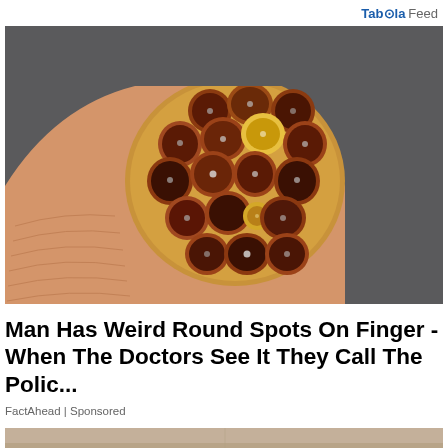Taboola Feed
[Figure (photo): Close-up macro photo of a human fingertip with a cluster of honeycomb-like round dark holes arranged in a circular pattern, resembling a lotus seed pod or wasp nest cross-section on the finger tip, against a dark grey background.]
Man Has Weird Round Spots On Finger - When The Doctors See It They Call The Polic...
FactAhead | Sponsored
[Figure (photo): Partial view of an interior room showing a corner with beige/tan walls and ceiling, cropped at bottom of page.]